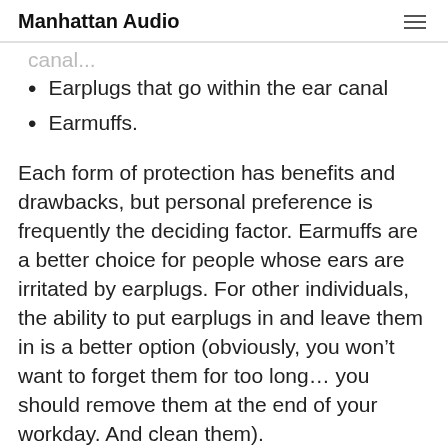Manhattan Audio
canal...
Earplugs that go within the ear canal
Earmuffs.
Each form of protection has benefits and drawbacks, but personal preference is frequently the deciding factor. Earmuffs are a better choice for people whose ears are irritated by earplugs. For other individuals, the ability to put earplugs in and leave them in is a better option (obviously, you won't want to forget them for too long... you should remove them at the end of your workday. And clean them).